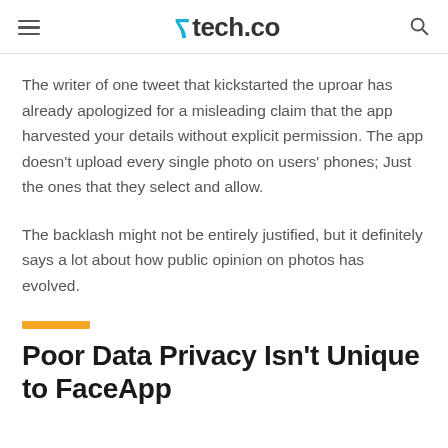tech.co
The writer of one tweet that kickstarted the uproar has already apologized for a misleading claim that the app harvested your details without explicit permission. The app doesn't upload every single photo on users' phones; Just the ones that they select and allow.
The backlash might not be entirely justified, but it definitely says a lot about how public opinion on photos has evolved.
Poor Data Privacy Isn't Unique to FaceApp